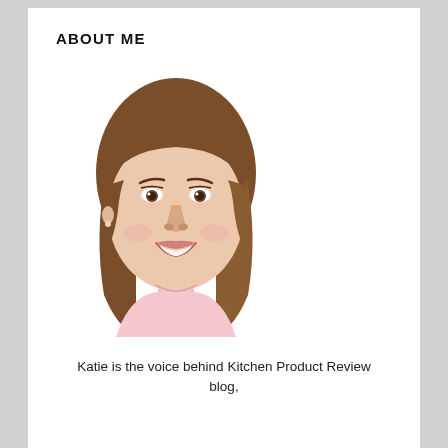ABOUT ME
[Figure (photo): Headshot of a smiling woman with medium-length brown hair, wearing a light pink top, against a white background.]
Katie is the voice behind Kitchen Product Review blog,